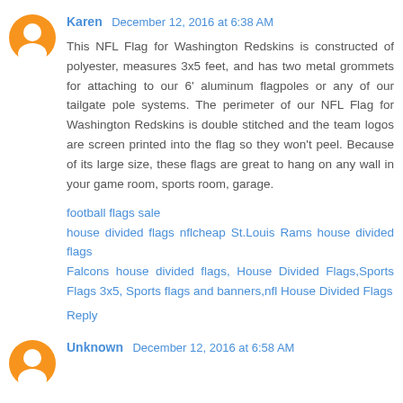Karen December 12, 2016 at 6:38 AM
This NFL Flag for Washington Redskins is constructed of polyester, measures 3x5 feet, and has two metal grommets for attaching to our 6' aluminum flagpoles or any of our tailgate pole systems. The perimeter of our NFL Flag for Washington Redskins is double stitched and the team logos are screen printed into the flag so they won't peel. Because of its large size, these flags are great to hang on any wall in your game room, sports room, garage.
football flags sale
house divided flags nflcheap St.Louis Rams house divided flags
Falcons house divided flags, House Divided Flags,Sports Flags 3x5, Sports flags and banners,nfl House Divided Flags
Reply
Unknown December 12, 2016 at 6:58 AM